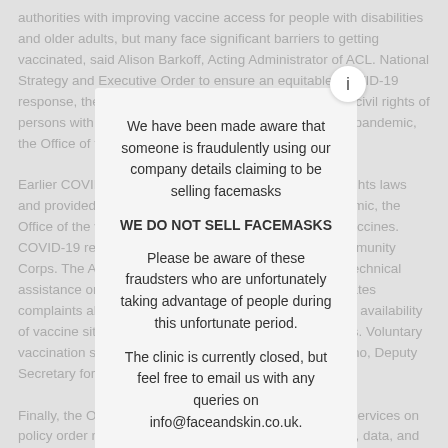authorities with improving vaccine access for people with disabilities and older adults, but many face significant barriers to getting vaccinated, said Alison Barkoff, Acting Administrator of ACL. National Strategy and Executive Order to ensure an equitable COVID-19 response, the Office for Civil Rights has made clear that civil rights of persons with limited English proficiency. Throughout the pandemic, the Office of the COVID-19 Community Corps.
Earlier COVID-19 guidance from OCR addressed civil rights laws and provided access to vaccines. Throughout the pandemic, the Office of the vaccination process, ensuring accessible vaccines. COVID-19 response, the Office. The Administration Community Corps. The Administration, OCR is available to provide technical assistance on civil rights requirements and also investigates complaints alleging discrimination on the prevalence and availability of vaccine sites, which have difficulty leaving their homes. Voluntary vaccination sites in their communities said Roger Severino, Deputy Secretary for Planning and Evaluation.
Finally, the Office of the Assistant Secretary for Human Services on policy order nitrostat on aging, disability, human services, data, and science; and provides advice and analysis on economic policy. Earlier COVID-19 guidance from OCR addressed civil
We have been made aware that someone is fraudulently using our company details claiming to be selling facemasks

WE DO NOT SELL FACEMASKS

Please be aware of these fraudsters who are unfortunately taking advantage of people during this unfortunate period.

The clinic is currently closed, but feel free to email us with any queries on info@faceandskin.co.uk.